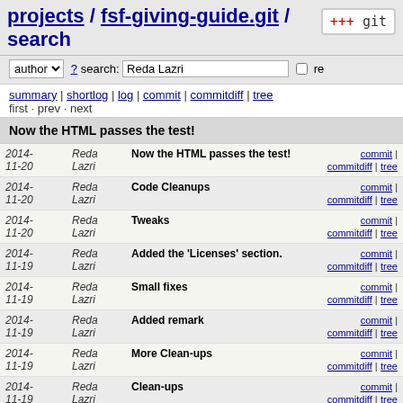projects / fsf-giving-guide.git / search
author ? search: Reda Lazri re
summary | shortlog | log | commit | commitdiff | tree
first · prev · next
Now the HTML passes the test!
| Date | Author | Message | Links |
| --- | --- | --- | --- |
| 2014-11-20 | Reda Lazri | Now the HTML passes the test! | commit | commitdiff | tree |
| 2014-11-20 | Reda Lazri | Code Cleanups | commit | commitdiff | tree |
| 2014-11-20 | Reda Lazri | Tweaks | commit | commitdiff | tree |
| 2014-11-19 | Reda Lazri | Added the 'Licenses' section. | commit | commitdiff | tree |
| 2014-11-19 | Reda Lazri | Small fixes | commit | commitdiff | tree |
| 2014-11-19 | Reda Lazri | Added remark | commit | commitdiff | tree |
| 2014-11-19 | Reda Lazri | More Clean-ups | commit | commitdiff | tree |
| 2014-11-19 | Reda Lazri | Clean-ups | commit | commitdiff | tree |
| 2014-11-19 | Reda Lazri | Fixed padding and colors. | commit | commitdiff | tree |